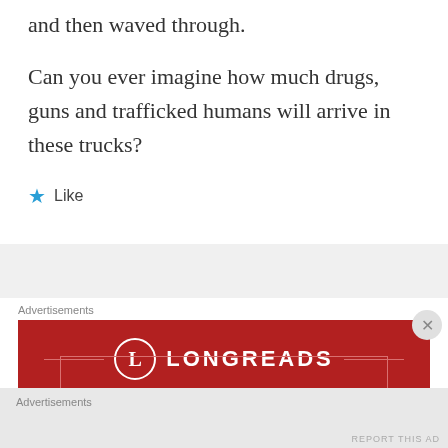and then waved through.
Can you ever imagine how much drugs, guns and trafficked humans will arrive in these trucks?
Like
Advertisements
[Figure (other): Longreads advertisement banner with red background, circular L logo, and text 'The best stories on the web – ours, and']
Advertisements